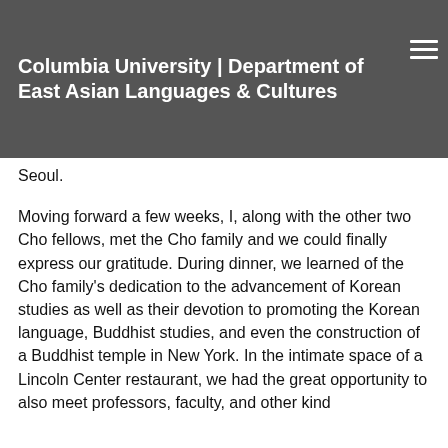Columbia University | Department of East Asian Languages & Cultures
Seoul.
Moving forward a few weeks, I, along with the other two Cho fellows, met the Cho family and we could finally express our gratitude. During dinner, we learned of the Cho family's dedication to the advancement of Korean studies as well as their devotion to promoting the Korean language, Buddhist studies, and even the construction of a Buddhist temple in New York. In the intimate space of a Lincoln Center restaurant, we had the great opportunity to also meet professors, faculty, and other kind